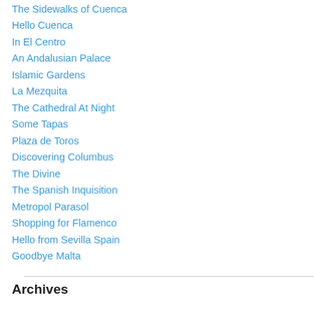The Sidewalks of Cuenca
Hello Cuenca
In El Centro
An Andalusian Palace
Islamic Gardens
La Mezquita
The Cathedral At Night
Some Tapas
Plaza de Toros
Discovering Columbus
The Divine
The Spanish Inquisition
Metropol Parasol
Shopping for Flamenco
Hello from Sevilla Spain
Goodbye Malta
Archives